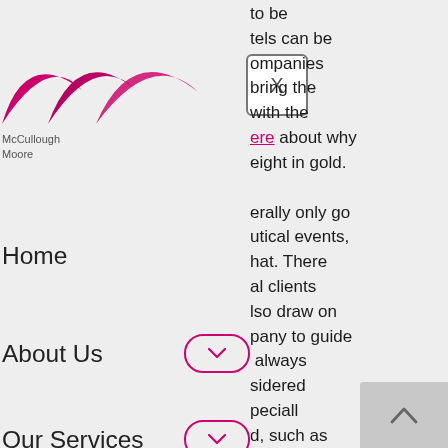[Figure (logo): McCullough Moore logo with pink/magenta curved arch shapes and company name text]
Home
About Us
Our Services
Types Of Events
Types Of Industries
Contact Us
Our Blog
to be tels can be ompanies bring the with the ere about why eight in gold. erally only go utical events, hat. There al clients lso draw on pany to guide always sidered peciall d, such as